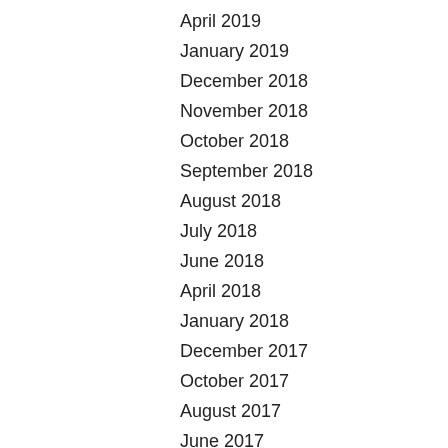April 2019
January 2019
December 2018
November 2018
October 2018
September 2018
August 2018
July 2018
June 2018
April 2018
January 2018
December 2017
October 2017
August 2017
June 2017